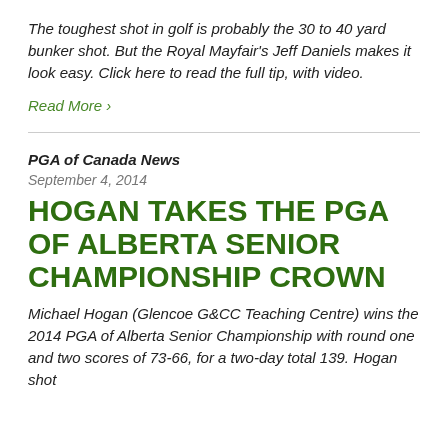The toughest shot in golf is probably the 30 to 40 yard bunker shot. But the Royal Mayfair's Jeff Daniels makes it look easy. Click here to read the full tip, with video.
Read More ›
PGA of Canada News
September 4, 2014
HOGAN TAKES THE PGA OF ALBERTA SENIOR CHAMPIONSHIP CROWN
Michael Hogan (Glencoe G&CC Teaching Centre) wins the 2014 PGA of Alberta Senior Championship with round one and two scores of 73-66, for a two-day total 139. Hogan shot